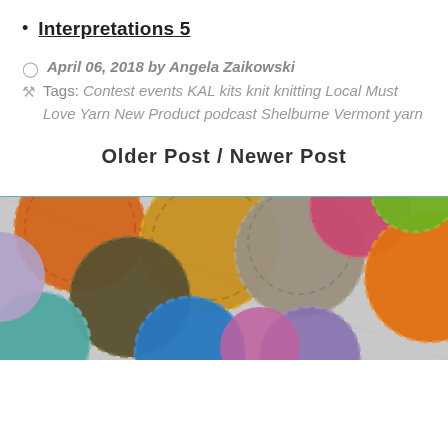Interpretations 5
April 06, 2018 by Angela Zaikowski
Tags: Contest events KAL kits knit knitting Local Must Love Yarn New Product podcast Shelburne Vermont yarn
Older Post / Newer Post
[Figure (photo): Colorful yarn skeins/balls piled together in various colors including orange, yellow, gray, teal, blue, pink, green, and lavender]